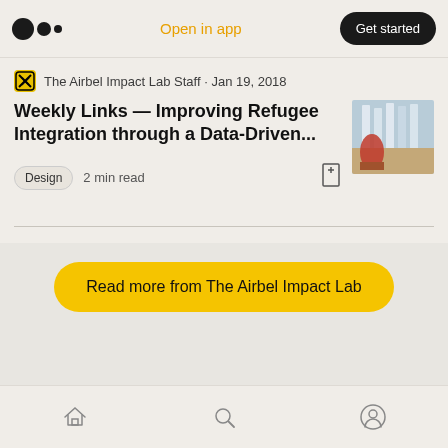Open in app | Get started
The Airbel Impact Lab Staff · Jan 19, 2018
Weekly Links — Improving Refugee Integration through a Data-Driven...
Design  2 min read
[Figure (photo): Thumbnail photo of a person in red clothing near white structures outdoors]
Read more from The Airbel Impact Lab
Bottom navigation bar with home, search, and profile icons